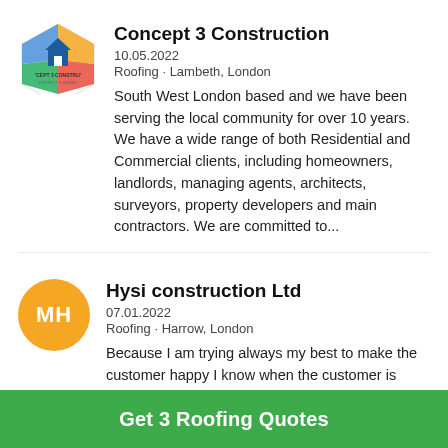[Figure (logo): Concept 3 Construction logo — colourful hexagon with house icon and text below]
Concept 3 Construction
10.05.2022
Roofing · Lambeth, London
South West London based and we have been serving the local community for over 10 years. We have a wide range of both Residential and Commercial clients, including homeowners, landlords, managing agents, architects, surveyors, property developers and main contractors. We are committed to...
[Figure (illustration): Orange circle avatar with initials MH]
Hysi construction Ltd
07.01.2022
Roofing · Harrow, London
Because I am trying always my best to make the customer happy I know when the customer is happy I will be happy to
Get 3 Roofing Quotes